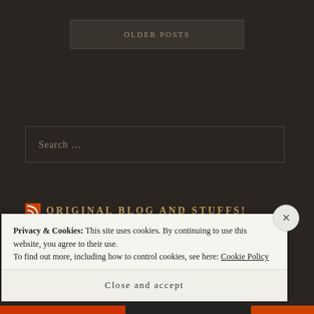OLDER POSTS
Search ...
ORIGINAL BLOG AND STUFFS!
Privacy & Cookies: This site uses cookies. By continuing to use this website, you agree to their use.
To find out more, including how to control cookies, see here: Cookie Policy
Close and accept